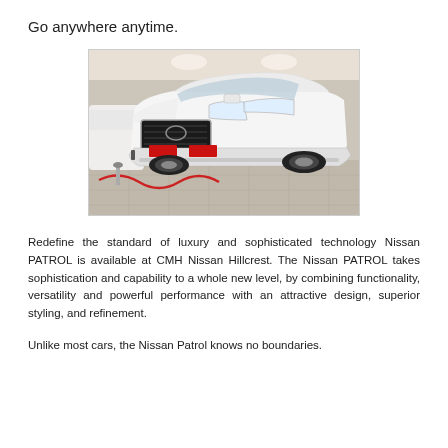Go anywhere anytime.
[Figure (photo): White Nissan Patrol SUV photographed from the front-left angle inside a dealership showroom. The vehicle has a prominent black grille with the Nissan logo, red license plates, and chrome accents. A rope barrier and other vehicles are visible in the background.]
Redefine the standard of luxury and sophisticated technology Nissan PATROL is available at CMH Nissan Hillcrest. The Nissan PATROL takes sophistication and capability to a whole new level, by combining functionality, versatility and powerful performance with an attractive design, superior styling, and refinement.
Unlike most cars, the Nissan Patrol knows no boundaries.